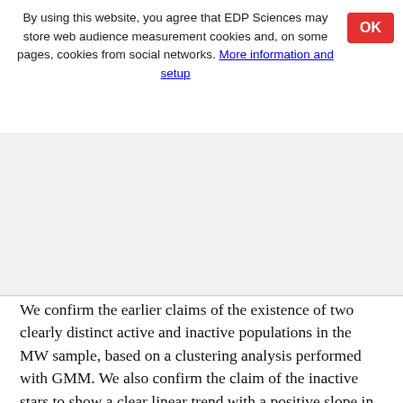By using this website, you agree that EDP Sciences may store web audience measurement cookies and, on some pages, cookies from social networks. More information and setup
We confirm the earlier claims of the existence of two clearly distinct active and inactive populations in the MW sample, based on a clustering analysis performed with GMM. We also confirm the claim of the inactive stars to show a clear linear trend with a positive slope in the RCRA diagram, while discard the claims of the active stars showing a similar trend (see e.g. Brandenburg et al. 1998; Saar & Brandenburg 1999). The